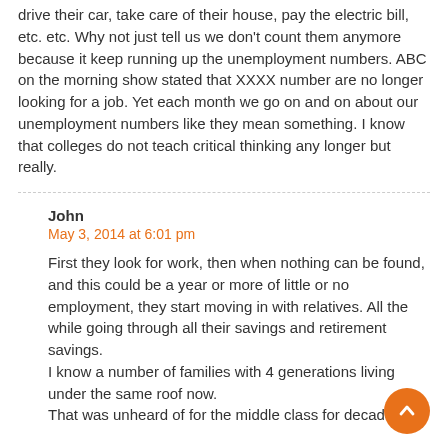drive their car, take care of their house, pay the electric bill, etc. etc. Why not just tell us we don't count them anymore because it keep running up the unemployment numbers. ABC on the morning show stated that XXXX number are no longer looking for a job. Yet each month we go on and on about our unemployment numbers like they mean something. I know that colleges do not teach critical thinking any longer but really.
John
May 3, 2014 at 6:01 pm
First they look for work, then when nothing can be found, and this could be a year or more of little or no employment, they start moving in with relatives. All the while going through all their savings and retirement savings.
I know a number of families with 4 generations living under the same roof now.
That was unheard of for the middle class for decades.
Sci
May 3, 2014 at 10:30 pm